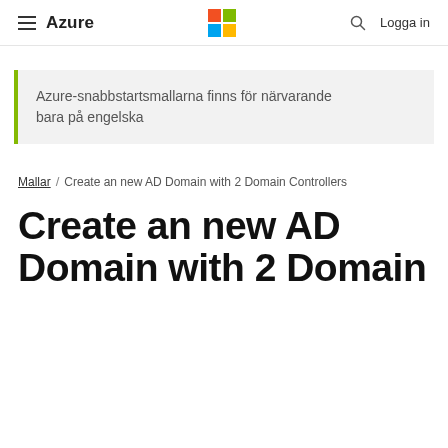≡ Azure  [Microsoft Logo]  🔍 Logga in
Azure-snabbstartsmallarna finns för närvarande bara på engelska
Mallar / Create an new AD Domain with 2 Domain Controllers
Create an new AD Domain with 2 Domain